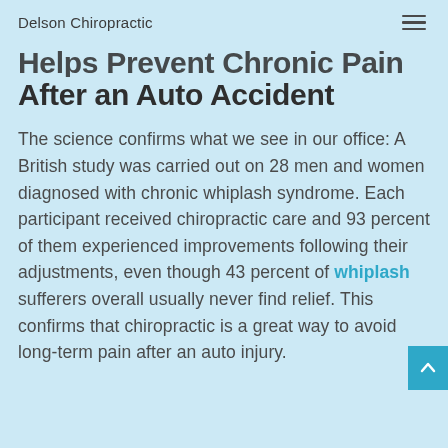Delson Chiropractic
Helps Prevent Chronic Pain After an Auto Accident
The science confirms what we see in our office: A British study was carried out on 28 men and women diagnosed with chronic whiplash syndrome. Each participant received chiropractic care and 93 percent of them experienced improvements following their adjustments, even though 43 percent of whiplash sufferers overall usually never find relief. This confirms that chiropractic is a great way to avoid long-term pain after an auto injury.